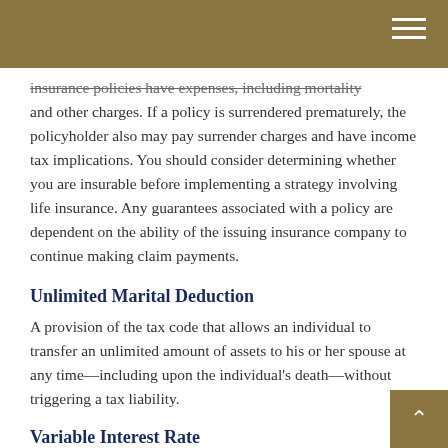insurance policies have expenses, including mortality and other charges. If a policy is surrendered prematurely, the policyholder also may pay surrender charges and have income tax implications. You should consider determining whether you are insurable before implementing a strategy involving life insurance. Any guarantees associated with a policy are dependent on the ability of the issuing insurance company to continue making claim payments.
Unlimited Marital Deduction
A provision of the tax code that allows an individual to transfer an unlimited amount of assets to his or her spouse at any time—including upon the individual's death—without triggering a tax liability.
Variable Interest Rate